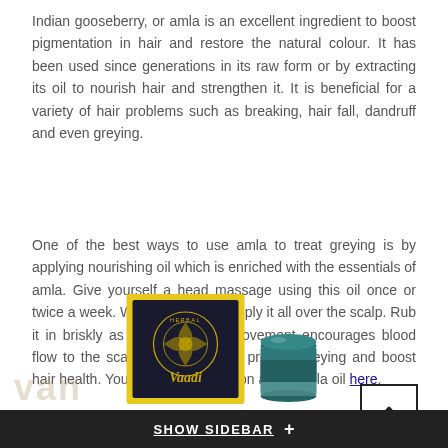Indian gooseberry, or amla is an excellent ingredient to boost pigmentation in hair and restore the natural colour. It has been used since generations in its raw form or by extracting its oil to nourish hair and strengthen it. It is beneficial for a variety of hair problems such as breaking, hair fall, dandruff and even greying.
One of the best ways to use amla to treat greying is by applying nourishing oil which is enriched with the essentials of amla. Give yourself a head massage using this oil once or twice a week. Warm the oil and apply it all over the scalp. Rub it in briskly as the massaging movement encourages blood flow to the scalp which can also prevent greying and boost hair health. You can find information about amla oil here.
[Figure (photo): Product image showing a yellow Vaadi Herbal box and a dark teal/green tin container]
SHOW SIDEBAR +